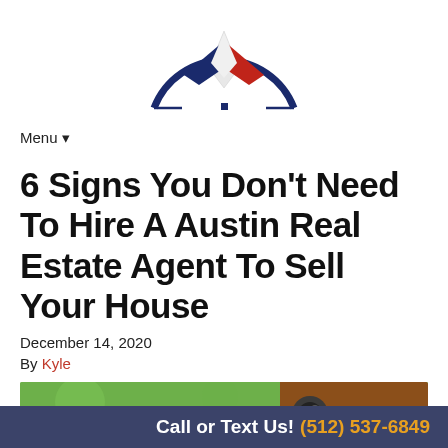[Figure (logo): Compass-style logo with blue, white, and red star/diamond shapes forming a Texas star motif inside a dark blue semi-circle arc]
Menu ▾
6 Signs You Don't Need To Hire A Austin Real Estate Agent To Sell Your House
December 14, 2020
By Kyle
[Figure (photo): Close-up photo of a door handle/knob with green bokeh background and brown door]
Call or Text Us! (512) 537-6849